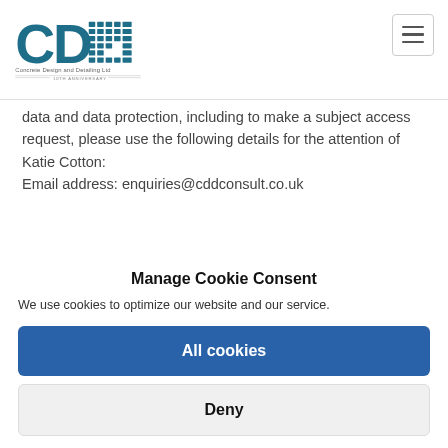[Figure (logo): CDD Concrete Design and Detailing Ltd logo with 10th Anniversary text]
data and data protection, including to make a subject access request, please use the following details for the attention of Katie Cotton:
Email address: enquiries@cddconsult.co.uk
Manage Cookie Consent
We use cookies to optimize our website and our service.
All cookies
Deny